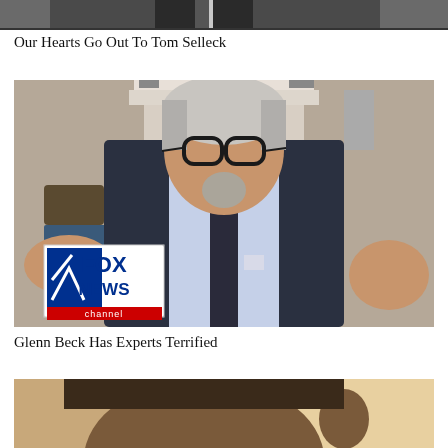[Figure (photo): Top portion of a man in a suit, partially cropped, showing only the lower body/torso area]
Our Hearts Go Out To Tom Selleck
[Figure (photo): Glenn Beck sitting in a formal room with a fireplace, gesturing with both hands, wearing glasses and a dark suit. Fox News channel logo visible in bottom left corner.]
Glenn Beck Has Experts Terrified
[Figure (photo): Close-up of a man's face, partially cropped, showing forehead and ear area with bright light in background]